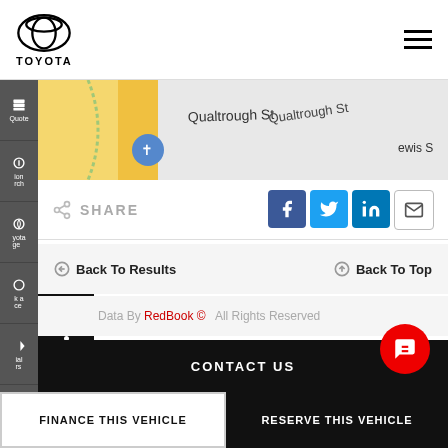[Figure (logo): Toyota logo with oval emblem and TOYOTA wordmark below]
[Figure (map): Street map showing Qualtrough St and surrounding area with yellow roads]
SHARE
[Figure (infographic): Social share buttons: Facebook (f), Twitter (bird), LinkedIn (in), Email (envelope)]
Back To Results
Back To Top
Data By RedBook ©  All Rights Reserved
CONTACT US
FINANCE THIS VEHICLE
RESERVE THIS VEHICLE